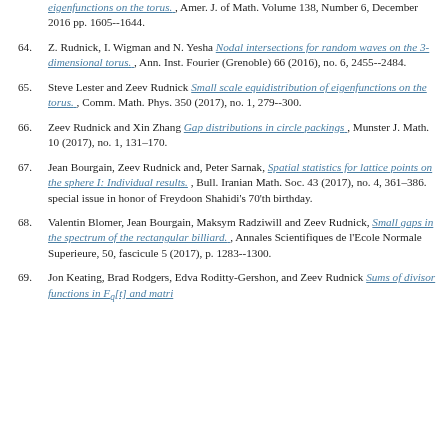eigenfunctions on the torus. , Amer. J. of Math. Volume 138, Number 6, December 2016 pp. 1605--1644.
64. Z. Rudnick, I. Wigman and N. Yesha Nodal intersections for random waves on the 3-dimensional torus. , Ann. Inst. Fourier (Grenoble) 66 (2016), no. 6, 2455--2484.
65. Steve Lester and Zeev Rudnick Small scale equidistribution of eigenfunctions on the torus. , Comm. Math. Phys. 350 (2017), no. 1, 279--300.
66. Zeev Rudnick and Xin Zhang Gap distributions in circle packings , Munster J. Math. 10 (2017), no. 1, 131–170.
67. Jean Bourgain, Zeev Rudnick and, Peter Sarnak, Spatial statistics for lattice points on the sphere I: Individual results. , Bull. Iranian Math. Soc. 43 (2017), no. 4, 361–386. special issue in honor of Freydoon Shahidi's 70'th birthday.
68. Valentin Blomer, Jean Bourgain, Maksym Radziwill and Zeev Rudnick, Small gaps in the spectrum of the rectangular billiard. , Annales Scientifiques de l'Ecole Normale Superieure, 50, fascicule 5 (2017), p. 1283--1300.
69. Jon Keating, Brad Rodgers, Edva Roditty-Gershon, and Zeev Rudnick Sums of divisor functions in F_q[t] and matrix...